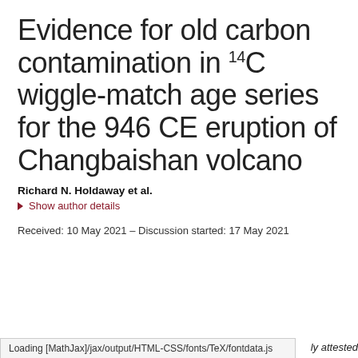Evidence for old carbon contamination in 14C wiggle-match age series for the 946 CE eruption of Changbaishan volcano
Richard N. Holdaway et al.
Show author details
Received: 10 May 2021 – Discussion started: 17 May 2021
Loading [MathJax]/jax/output/HTML-CSS/fonts/TeX/fontdata.js
ly attested